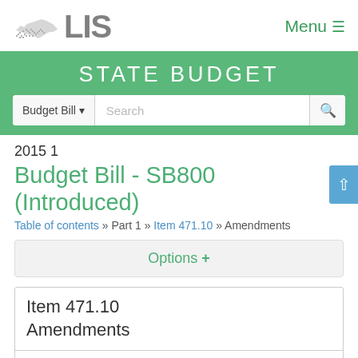[Figure (logo): LIS logo with Virginia outline silhouette and 'LIS' text in gray]
Menu
STATE BUDGET
Budget Bill ▼  Search
2015 1
Budget Bill - SB800 (Introduced)
Table of contents » Part 1 » Item 471.10 » Amendments
Options +
| Item 471.10
Amendments |
| Committee Approved |